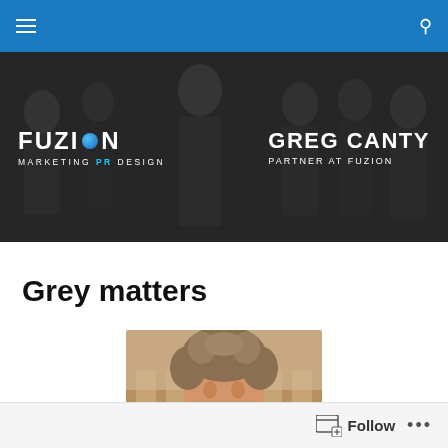Navigation bar with hamburger menu and search icon
[Figure (photo): Hero banner image showing Fuzion Marketing PR Design logo and Greg Canty - Partner at Fuzion text overlay on a group photo of people sitting]
Grey matters
[Figure (photo): Portrait photo of a middle-aged man with curly greying hair, smiling]
Follow ...